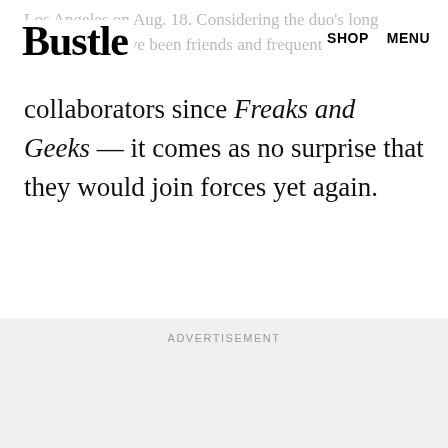Los Angeles on Aug. 18. Considering the duo's long history — they've been friends and frequent
Bustle
SHOP   MENU
collaborators since Freaks and Geeks — it comes as no surprise that they would join forces yet again.
ADVERTISEMENT